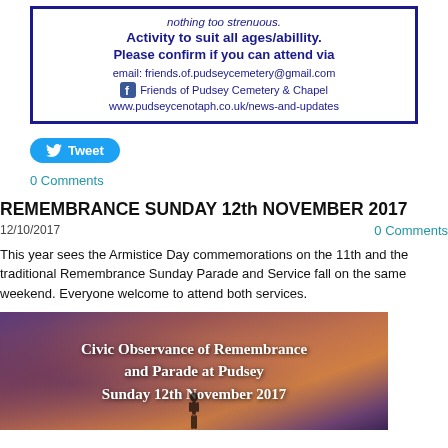[Figure (infographic): Blue-bordered box with text about activity, email, Facebook and website links for Friends of Pudsey Cemetery & Chapel]
[Figure (infographic): Twitter Tweet button in blue rounded rectangle]
0 Comments
REMEMBRANCE SUNDAY 12th NOVEMBER 2017
12/10/2017
0 Comments
This year sees the Armistice Day commemorations on the 11th and the traditional Remembrance Sunday Parade and Service fall on the same weekend. Everyone welcome to attend both services.
[Figure (photo): Dark atmospheric sky image with text: Civic Observance of Remembrance and Parade at Pudsey Sunday 12th November 2017, with a silhouette figure at the bottom]